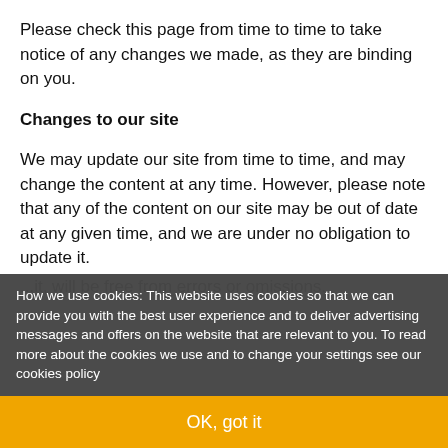Please check this page from time to time to take notice of any changes we made, as they are binding on you.
Changes to our site
We may update our site from time to time, and may change the content at any time. However, please note that any of the content on our site may be out of date at any given time, and we are under no obligation to update it.
How we use cookies: This website uses cookies so that we can provide you with the best user experience and to deliver advertising messages and offers on the website that are relevant to you. To read more about the cookies we use and to change your settings see our cookies policy
OK, got it